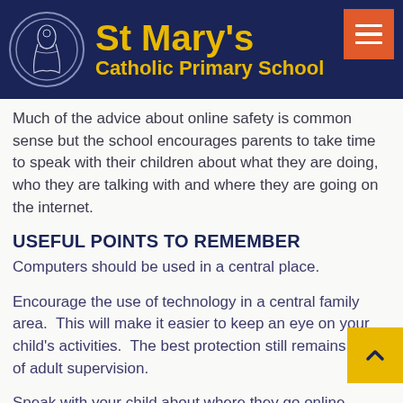St Mary's Catholic Primary School
Much of the advice about online safety is common sense but the school encourages parents to take time to speak with their children about what they are doing, who they are talking with and where they are going on the internet.
USEFUL POINTS TO REMEMBER
Computers should be used in a central place.
Encourage the use of technology in a central family area.  This will make it easier to keep an eye on your child's activities.  The best protection still remains that of adult supervision.
Speak with your child about where they go online.